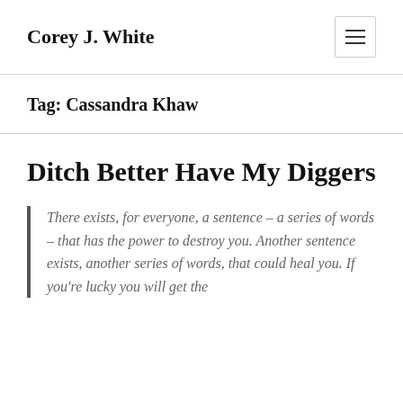Corey J. White
Tag: Cassandra Khaw
Ditch Better Have My Diggers
There exists, for everyone, a sentence – a series of words – that has the power to destroy you. Another sentence exists, another series of words, that could heal you. If you're lucky you will get the